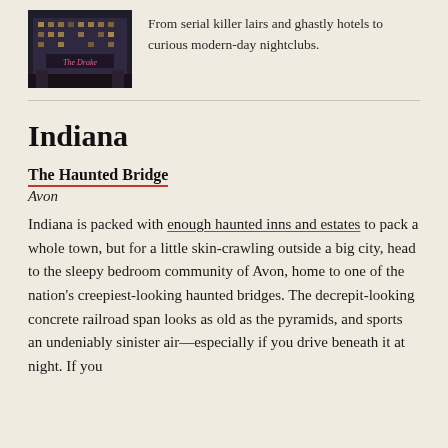[Figure (photo): Photograph of a tall multi-story building at dusk or night, with a lit sign reading 'The Drake' or similar hotel name in pink/red lettering.]
From serial killer lairs and ghastly hotels to curious modern-day nightclubs.
Indiana
The Haunted Bridge
Avon
Indiana is packed with enough haunted inns and estates to pack a whole town, but for a little skin-crawling outside a big city, head to the sleepy bedroom community of Avon, home to one of the nation's creepiest-looking haunted bridges. The decrepit-looking concrete railroad span looks as old as the pyramids, and sports an undeniably sinister air—especially if you drive beneath it at night. If you